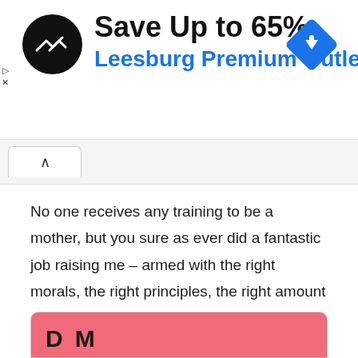[Figure (screenshot): Advertisement banner for Leesburg Premium Outlets showing a circular black logo with arrow symbols, text 'Save Up to 65%' in bold black, 'Leesburg Premium Outlets' in blue, and a blue diamond navigation arrow icon on the right.]
[Figure (screenshot): Browser tab navigation area with a caret/chevron up arrow button tab on the left.]
No one receives any training to be a mother, but you sure as ever did a fantastic job raising me – armed with the right morals, the right principles, the right amount of discipline yet with tender loving care.
I couldn't have done it any better.
[Figure (screenshot): Bottom of a pink greeting card partially visible, showing large bold text beginning with 'D' and 'M' (likely 'Dear Mom' or similar).]